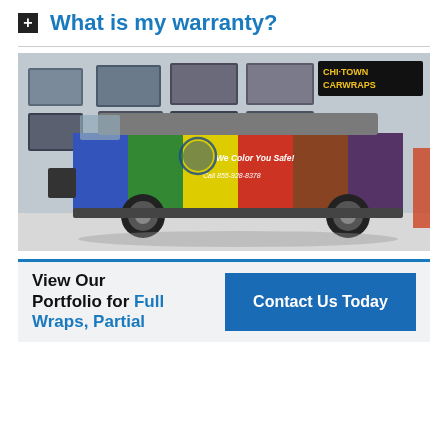+ What is my warranty?
[Figure (photo): A colorfully wrapped van (rainbow colors — blue, green, yellow, red, purple) with 'We Color You Safe!' and 'Call 855-928-8378' text on the side, parked inside a vehicle wrap shop (Chi-Town CarWraps) with various wrap examples on the wall behind it.]
View Our Portfolio for Full Wraps, Partial
Contact Us Today